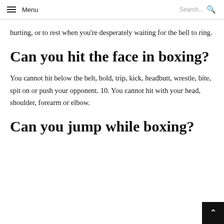Menu  Search...
hurting, or to rest when you're desperately waiting for the bell to ring.
Can you hit the face in boxing?
You cannot hit below the belt, hold, trip, kick, headbutt, wrestle, bite, spit on or push your opponent. 10. You cannot hit with your head, shoulder, forearm or elbow.
Can you jump while boxing?